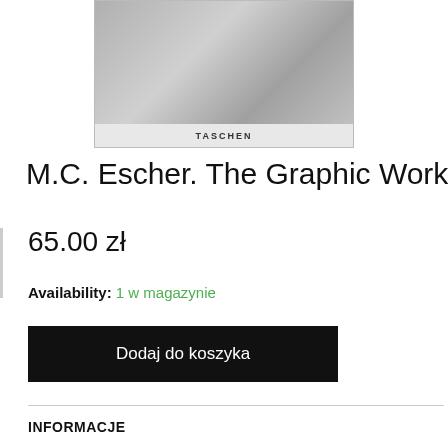[Figure (photo): Book cover image for M.C. Escher The Graphic Work published by Taschen, showing a grayscale illustration of hands with drawing instruments, with the TASCHEN publisher name at the bottom of the cover]
M.C. Escher. The Graphic Work
65.00 zł
Availability: 1 w magazynie
Dodaj do koszyka
INFORMACJE